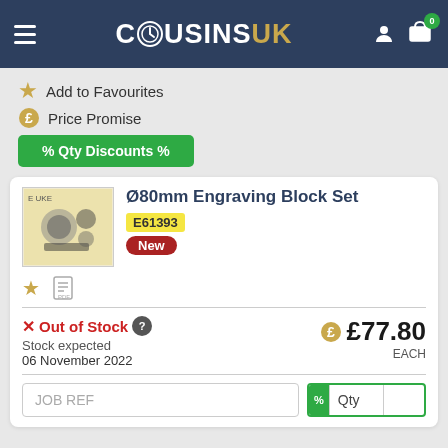COUSINSUK — navigation header with hamburger menu, logo, user icon, and cart with badge 0
★ Add to Favourites
£ Price Promise
% Qty Discounts %
[Figure (photo): Product image of Ø80mm Engraving Block Set showing engraving blocks and accessories]
Ø80mm Engraving Block Set
E61393
New
✕ Out of Stock  ?
Stock expected
06 November 2022
£77.80 EACH
JOB REF
% Qty